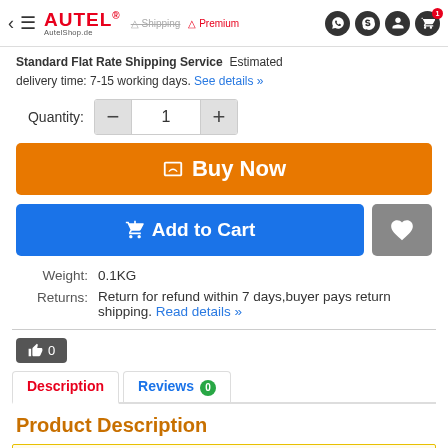AUTEL AutelShop.de — navigation header with shipping, premium, and icons
Standard Flat Rate Shipping Service  Estimated delivery time: 7-15 working days. See details »
Quantity: 1
Buy Now
Add to Cart
Weight: 0.1KG
Returns: Return for refund within 7 days,buyer pays return shipping. Read details »
0
Description | Reviews 0
Product Description
AUTEL MAXIIM IKEY Standard Style IKEYAT004DL 4 Buttons